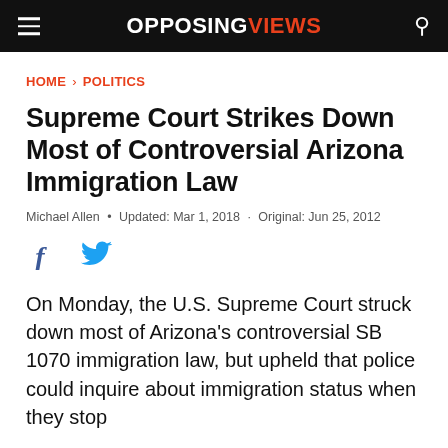OPPOSING VIEWS
HOME › POLITICS
Supreme Court Strikes Down Most of Controversial Arizona Immigration Law
Michael Allen • Updated: Mar 1, 2018 · Original: Jun 25, 2012
On Monday, the U.S. Supreme Court struck down most of Arizona's controversial SB 1070 immigration law, but upheld that police could inquire about immigration status when they stop